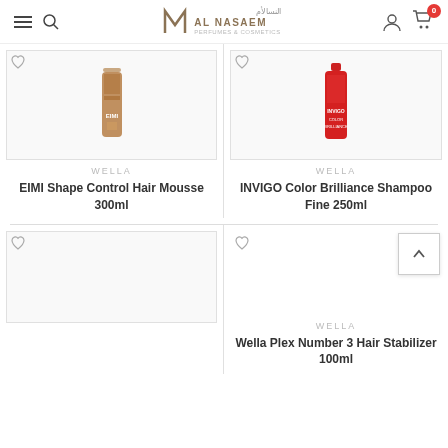AL NASAEM - Navigation header with logo, search, account, and cart
[Figure (photo): EIMI Shape Control Hair Mousse 300ml product bottle - bronze/gold cylindrical canister]
WELLA
EIMI Shape Control Hair Mousse 300ml
[Figure (photo): INVIGO Color Brilliance Shampoo Fine 250ml product bottle - red pump bottle]
WELLA
INVIGO Color Brilliance Shampoo Fine 250ml
[Figure (photo): Empty product image placeholder - left bottom card]
WELLA
Wella Plex Number 3 Hair Stabilizer 100ml